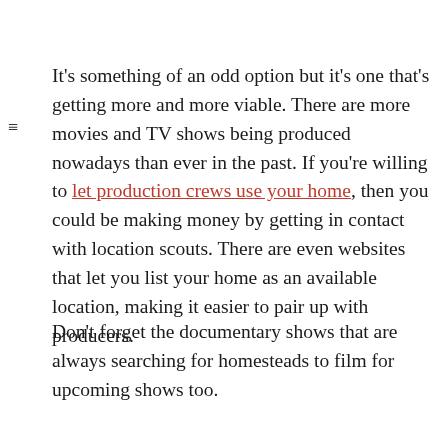It's something of an odd option but it's one that's getting more and more viable. There are more movies and TV shows being produced nowadays than ever in the past. If you're willing to let production crews use your home, then you could be making money by getting in contact with location scouts. There are even websites that let you list your home as an available location, making it easier to pair up with producers.
Don't forget the documentary shows that are always searching for homesteads to film for upcoming shows too.